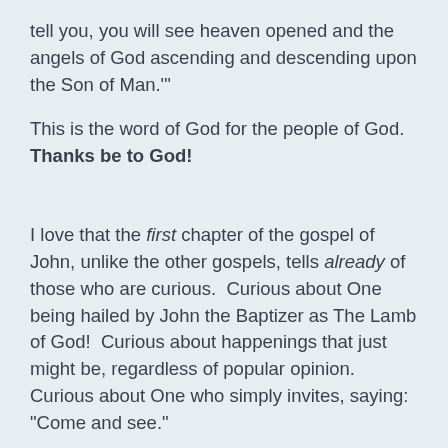tell you, you will see heaven opened and the angels of God ascending and descending upon the Son of Man.'
This is the word of God for the people of God. Thanks be to God!
I love that the first chapter of the gospel of John, unlike the other gospels, tells already of those who are curious.  Curious about One being hailed by John the Baptizer as The Lamb of God!  Curious about happenings that just might be, regardless of popular opinion.  Curious about One who simply invites, saying:  "Come and see."